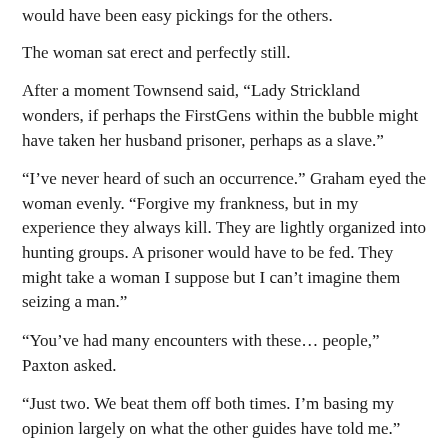would have been easy pickings for the others.
The woman sat erect and perfectly still.
After a moment Townsend said, “Lady Strickland wonders, if perhaps the FirstGens within the bubble might have taken her husband prisoner, perhaps as a slave.”
“I’ve never heard of such an occurrence.” Graham eyed the woman evenly. “Forgive my frankness, but in my experience they always kill. They are lightly organized into hunting groups. A prisoner would have to be fed. They might take a woman I suppose but I can’t imagine them seizing a man.”
“You’ve had many encounters with these… people,” Paxton asked.
“Just two. We beat them off both times. I’m basing my opinion largely on what the other guides have told me.”